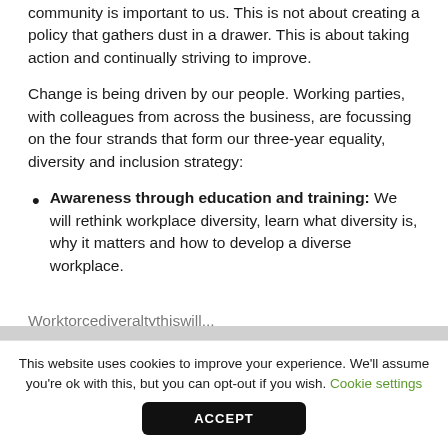community is important to us. This is not about creating a policy that gathers dust in a drawer. This is about taking action and continually striving to improve.
Change is being driven by our people. Working parties, with colleagues from across the business, are focussing on the four strands that form our three-year equality, diversity and inclusion strategy:
Awareness through education and training: We will rethink workplace diversity, learn what diversity is, why it matters and how to develop a diverse workplace.
This website uses cookies to improve your experience. We'll assume you're ok with this, but you can opt-out if you wish. Cookie settings
ACCEPT